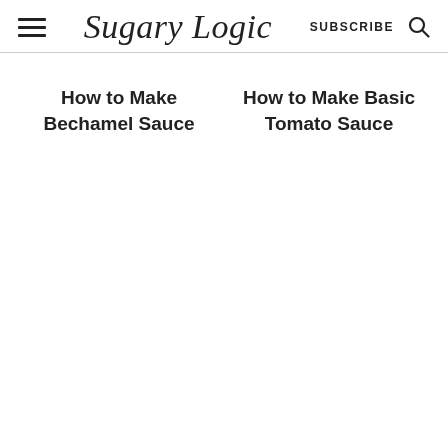Sugary Logic — SUBSCRIBE
How to Make Bechamel Sauce
How to Make Basic Tomato Sauce